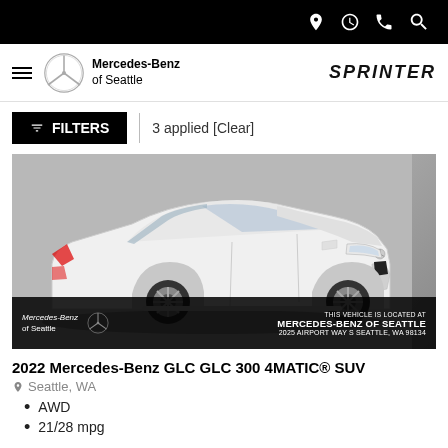Top navigation bar with icons: location, clock, phone, search
[Figure (logo): Mercedes-Benz of Seattle logo with hamburger menu and Sprinter text]
FILTERS | 3 applied [Clear]
[Figure (photo): 2022 Mercedes-Benz GLC 300 4MATIC SUV in white, photographed from front-left angle on gray background. Overlay at bottom: Mercedes-Benz of Seattle logo and text: THIS VEHICLE IS LOCATED AT MERCEDES-BENZ OF SEATTLE 2025 AIRPORT WAY S SEATTLE, WA 98134]
2022 Mercedes-Benz GLC GLC 300 4MATIC® SUV
Seattle, WA
AWD
21/28 mpg